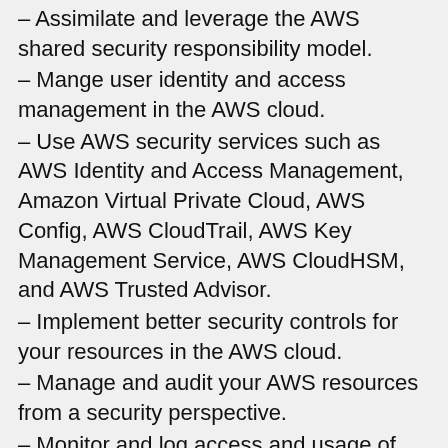– Assimilate and leverage the AWS shared security responsibility model.
– Mange user identity and access management in the AWS cloud.
– Use AWS security services such as AWS Identity and Access Management, Amazon Virtual Private Cloud, AWS Config, AWS CloudTrail, AWS Key Management Service, AWS CloudHSM, and AWS Trusted Advisor.
– Implement better security controls for your resources in the AWS cloud.
– Manage and audit your AWS resources from a security perspective.
– Monitor and log access and usage of AWS compute, storage, networking, and database services.
– Assimilate and leverage the AWS shared compliance responsibility model.
– Identify AWS services and tools to help automate, audit, and monitor security operations on AWS